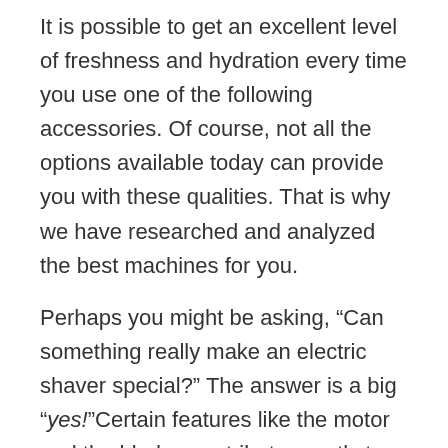It is possible to get an excellent level of freshness and hydration every time you use one of the following accessories. Of course, not all the options available today can provide you with these qualities. That is why we have researched and analyzed the best machines for you.
Perhaps you might be asking, “Can something really make an electric shaver special?” The answer is a big “yes!”Certain features like the motor and the blades contribute greatly to how a shaver works for certain types of hair… and in this case, black men’s hair.
In a Hurry? Check Our Top 3 Picks
1. Braun Electric Razor for Men/Electric